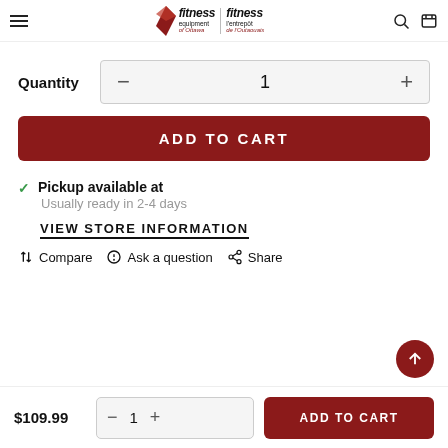Fitness Equipment of Ottawa / Fitness l'entrepôt de l'Outaouais — navigation header
Quantity
− 1 +
ADD TO CART
✓ Pickup available at
Usually ready in 2-4 days
VIEW STORE INFORMATION
Compare  Ask a question  Share
$109.99
− 1 +
ADD TO CART